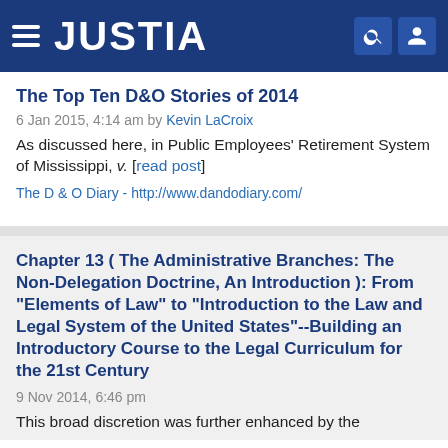JUSTIA
The Top Ten D&O Stories of 2014
6 Jan 2015, 4:14 am by Kevin LaCroix
As discussed here, in Public Employees' Retirement System of Mississippi, v. [read post]
The D & O Diary - http://www.dandodiary.com/
Chapter 13 ( The Administrative Branches: The Non-Delegation Doctrine, An Introduction ): From "Elements of Law" to "Introduction to the Law and Legal System of the United States"--Building an Introductory Course to the Legal Curriculum for the 21st Century
9 Nov 2014, 6:46 pm
This broad discretion was further enhanced by the